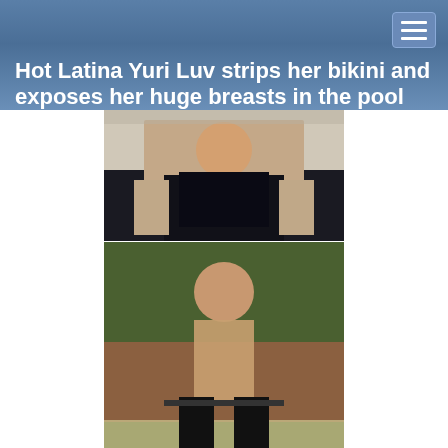Hot Latina Yuri Luv strips her bikini and exposes her huge breasts in the pool
[Figure (photo): Stack of three photographs of women in various states of undress]
[Figure (illustration): Navigation menu button (hamburger icon) in top right corner]